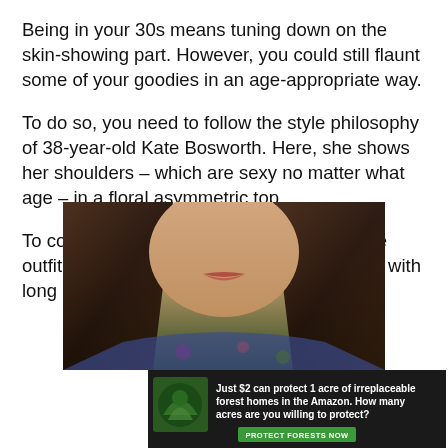Being in your 30s means tuning down on the skin-showing part. However, you could still flaunt some of your goodies in an age-appropriate way.
To do so, you need to follow the style philosophy of 38-year-old Kate Bosworth. Here, she shows her shoulders – which are sexy no matter what age – in a floral asymmetric top.
To counteract the skin-showing aspect of the outfit, make it a point to wear this kind of top with long pants and a pair of boots.
[Figure (photo): Photo of a woman with long dark hair, showing her face and upper body wearing a floral top, partially cropped.]
[Figure (infographic): Advertisement banner with dark background, forest/bird image on left, text: 'Just $2 can protect 1 acre of irreplaceable forest homes in the Amazon. How many acres are you willing to protect?' with green 'PROTECT FORESTS NOW' button.]